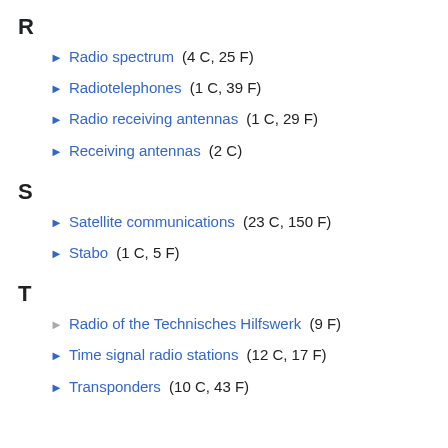R
Radio spectrum (4 C, 25 F)
Radiotelephones (1 C, 39 F)
Radio receiving antennas (1 C, 29 F)
Receiving antennas (2 C)
S
Satellite communications (23 C, 150 F)
Stabo (1 C, 5 F)
T
Radio of the Technisches Hilfswerk (9 F)
Time signal radio stations (12 C, 17 F)
Transponders (10 C, 43 F)